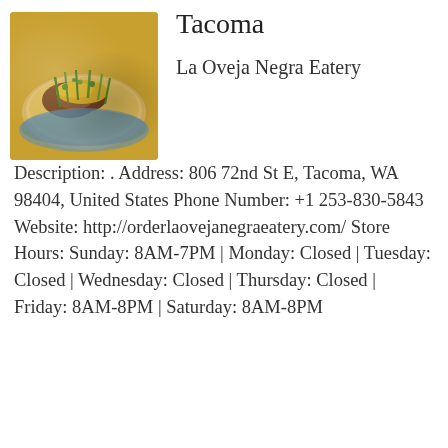[Figure (photo): Photo of a taco with toppings including green onions, cheese, and meat filling on a tortilla]
Tacoma
La Oveja Negra Eatery
Description: . Address: 806 72nd St E, Tacoma, WA 98404, United States Phone Number: +1 253-830-5843 Website: http://orderlaovejanegraeatery.com/ Store Hours: Sunday: 8AM-7PM | Monday: Closed | Tuesday: Closed | Wednesday: Closed | Thursday: Closed | Friday: 8AM-8PM | Saturday: 8AM-8PM